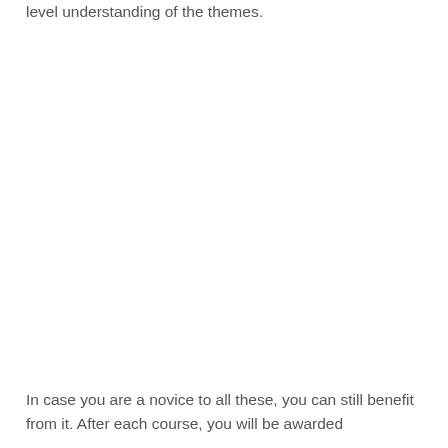level understanding of the themes.
In case you are a novice to all these, you can still benefit from it. After each course, you will be awarded